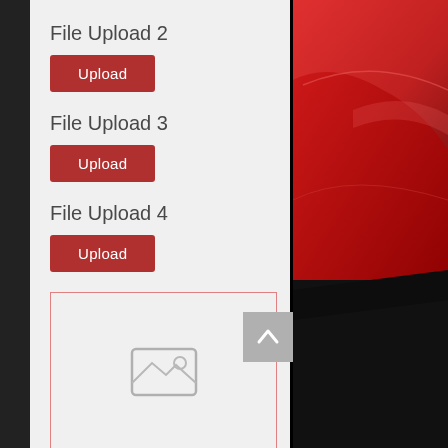File Upload 2
Upload
File Upload 3
Upload
File Upload 4
Upload
[Figure (other): Image upload placeholder box with dashed red border and a photo icon in the center]
[Figure (other): Red car background visible on right side panel, dark surround]